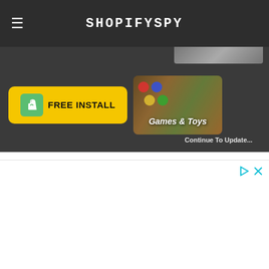SHOPIFYSPY
[Figure (screenshot): Dark band with FREE INSTALL button and Games & Toys card with 'Continue To Update...' text]
[Figure (screenshot): White advertisement area with play and close icons in top right corner]